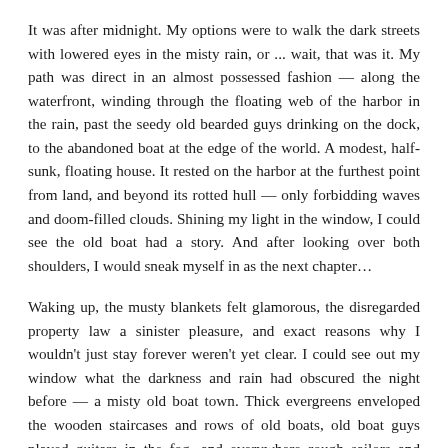It was after midnight. My options were to walk the dark streets with lowered eyes in the misty rain, or ... wait, that was it. My path was direct in an almost possessed fashion — along the waterfront, winding through the floating web of the harbor in the rain, past the seedy old bearded guys drinking on the dock, to the abandoned boat at the edge of the world. A modest, half-sunk, floating house. It rested on the harbor at the furthest point from land, and beyond its rotted hull — only forbidding waves and doom-filled clouds. Shining my light in the window, I could see the old boat had a story. And after looking over both shoulders, I would sneak myself in as the next chapter…
Waking up, the musty blankets felt glamorous, the disregarded property law a sinister pleasure, and exact reasons why I wouldn't just stay forever weren't yet clear. I could see out my window what the darkness and rain had obscured the night before — a misty old boat town. Thick evergreens enveloped the wooden staircases and rows of old boats, old boat guys played guitars in the fog, and everywhere rough sailors and young artists in knit caps stretched and drank coffee and read books on benches in the haze. There were the cool old wooden shops on the waterfront, the little park, and a general sense of ungovernable community. If there were laws here, certainly I agreed with 9/10 by way of general respect –